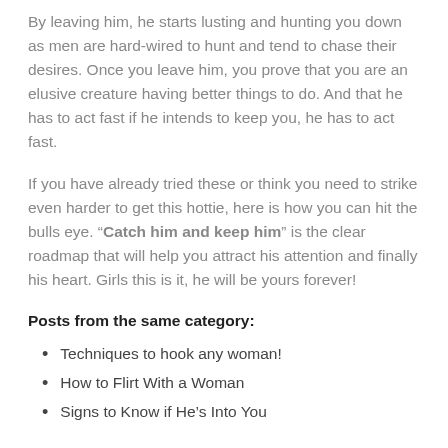By leaving him, he starts lusting and hunting you down as men are hard-wired to hunt and tend to chase their desires. Once you leave him, you prove that you are an elusive creature having better things to do. And that he has to act fast if he intends to keep you, he has to act fast.
If you have already tried these or think you need to strike even harder to get this hottie, here is how you can hit the bulls eye. “Catch him and keep him” is the clear roadmap that will help you attract his attention and finally his heart. Girls this is it, he will be yours forever!
Posts from the same category:
Techniques to hook any woman!
How to Flirt With a Woman
Signs to Know if He’s Into You